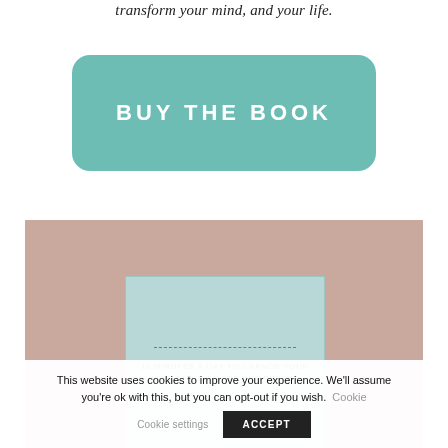transform your mind, and your life.
BUY THE BOOK
[Figure (photo): Book cover of '10 Minutes a Day to Change Your Mind and Life for the Better' displayed against a dusty rose/mauve background. The book has a light teal/mint cover with dashed lines and bold text.]
This website uses cookies to improve your experience. We'll assume you're ok with this, but you can opt-out if you wish. Cookie settings ACCEPT